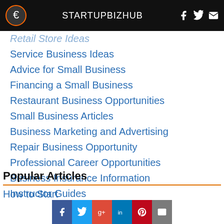STARTUPBIZHUB
Retail Store Ideas
Service Business Ideas
Advice for Small Business
Financing a Small Business
Restaurant Business Opportunities
Small Business Articles
Business Marketing and Advertising
Repair Business Opportunity
Professional Career Opportunities
Business Insurance Information
Instructor Guides
Popular Articles
How to Start